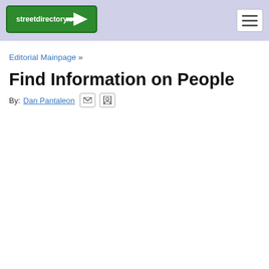streetdirectory.com
Editorial Mainpage »
Find Information on People
By: Dan Pantaleon